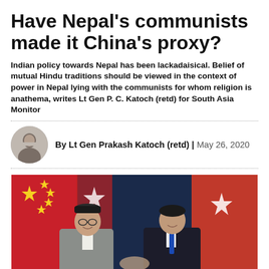Have Nepal's communists made it China's proxy?
Indian policy towards Nepal has been lackadaisical. Belief of mutual Hindu traditions should be viewed in the context of power in Nepal lying with the communists for whom religion is anathema, writes Lt Gen P. C. Katoch (retd) for South Asia Monitor
By Lt Gen Prakash Katoch (retd) | May 26, 2020
[Figure (photo): Two men in suits shaking hands in front of Chinese and Nepali flags. One man wears a traditional Nepali Dhaka topi hat and grey suit; the other wears a dark suit with blue tie. Background shows red flags with yellow stars (China) and red flags with white sun-like emblem (Nepal).]